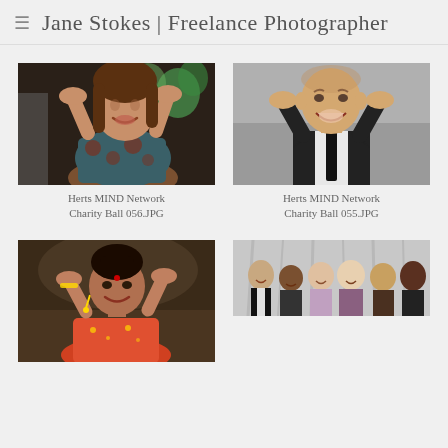Jane Stokes | Freelance Photographer
[Figure (photo): Woman with hands on head, smiling, at a party event with colorful balloons in background]
Herts MIND Network Charity Ball 056.JPG
[Figure (photo): Man in black suit and tie with hands behind his head, laughing, against a grey backdrop]
Herts MIND Network Charity Ball 055.JPG
[Figure (photo): Woman in orange/pink dress with hands on head, smiling, at indoor event]
[Figure (photo): Group of people posing together at charity ball event, white drape backdrop]